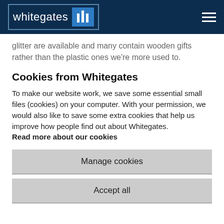whitegates
glitter are available and many contain wooden gifts rather than the plastic ones we're more used to.
Cookies from Whitegates
To make our website work, we save some essential small files (cookies) on your computer. With your permission, we would also like to save some extra cookies that help us improve how people find out about Whitegates.
Read more about our cookies
Manage cookies
Accept all